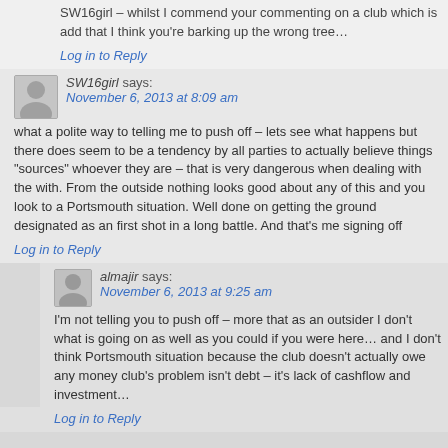SW16girl – whilst I commend your commenting on a club which is add that I think you're barking up the wrong tree…
Log in to Reply
SW16girl says: November 6, 2013 at 8:09 am
what a polite way to telling me to push off – lets see what happens but there does seem to be a tendency by all parties to actually believe things "sources" whoever they are – that is very dangerous when dealing with the with. From the outside nothing looks good about any of this and you look to a Portsmouth situation. Well done on getting the ground designated as an first shot in a long battle. And that's me signing off
Log in to Reply
almajir says: November 6, 2013 at 9:25 am
I'm not telling you to push off – more that as an outsider I don't what is going on as well as you could if you were here… and I don't think Portsmouth situation because the club doesn't actually owe any money club's problem isn't debt – it's lack of cashflow and investment…
Log in to Reply